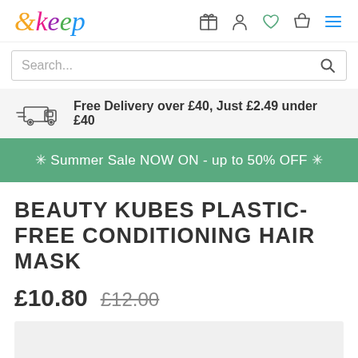[Figure (logo): &keep logo with colorful italic lettering]
Search...
Free Delivery over £40, Just £2.49 under £40
✳ Summer Sale NOW ON – up to 50% OFF ✳
BEAUTY KUBES PLASTIC-FREE CONDITIONING HAIR MASK
£10.80 £12.00